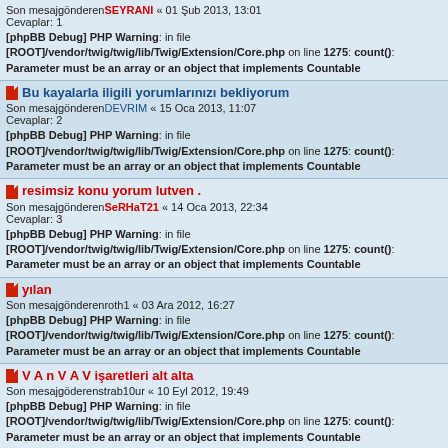Son mesajgönderen SEYRANI « 01 Şub 2013, 13:01
Cevaplar: 1
[phpBB Debug] PHP Warning: in file [ROOT]/vendor/twig/twig/lib/Twig/Extension/Core.php on line 1275: count(): Parameter must be an array or an object that implements Countable
Bu kayalarla iligili yorumlarınızı bekliyorum
Son mesajgönderen DEVRIM « 15 Oca 2013, 11:07
Cevaplar: 2
[phpBB Debug] PHP Warning: in file [ROOT]/vendor/twig/twig/lib/Twig/Extension/Core.php on line 1275: count(): Parameter must be an array or an object that implements Countable
resimsiz konu yorum lutven .
Son mesajgönderen SeRHaT21 « 14 Oca 2013, 22:34
Cevaplar: 3
[phpBB Debug] PHP Warning: in file [ROOT]/vendor/twig/twig/lib/Twig/Extension/Core.php on line 1275: count(): Parameter must be an array or an object that implements Countable
yılan
Son mesajgönderen roth1 « 03 Ara 2012, 16:27
[phpBB Debug] PHP Warning: in file [ROOT]/vendor/twig/twig/lib/Twig/Extension/Core.php on line 1275: count(): Parameter must be an array or an object that implements Countable
V A n V A V işaretleri alt alta
Son mesajgönderen strab10ur « 10 Eyl 2012, 19:49
[phpBB Debug] PHP Warning: in file [ROOT]/vendor/twig/twig/lib/Twig/Extension/Core.php on line 1275: count(): Parameter must be an array or an object that implements Countable
SORAN DAĞI AŞMIŞ SORMAYAN DÜZ YOLDA ŞAŞMIŞ
Son mesajgönderen CJ2609 « 31 Ağu 2012, 21:04
Cevaplar: 4
[phpBB Debug] PHP Warning: in file [ROOT]/vendor/twig/twig/lib/Twig/Extension/Core.php on line 1275: count(): Parameter must be an array or an object that implements Countable
TAVUK İŞARETİNE YORUM